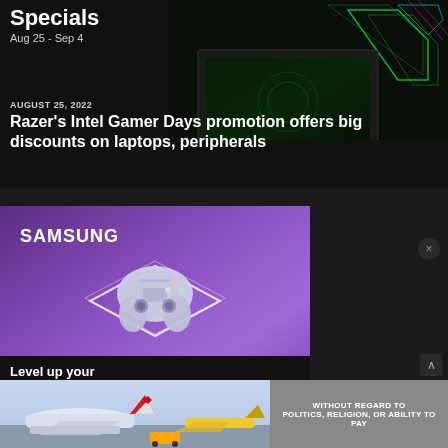Specials
Aug 25 - Sep 4
AUGUST 25, 2022
Razer's Intel Gamer Days promotion offers big discounts on laptops, peripherals
[Figure (photo): Samsung advertisement showing a PS5 DualSense controller, Samsung SSDs on a purple/violet gradient background]
SAMSUNG
Level up your PlayStation®5 storage.
SHOP NOW
980 PRO
No compatible source was found for this
[Figure (photo): Airline advertisement showing aircraft on tarmac, text WITHOUT REGARD TO POLITICS, RELIGION, OR ABILITY TO PAY]